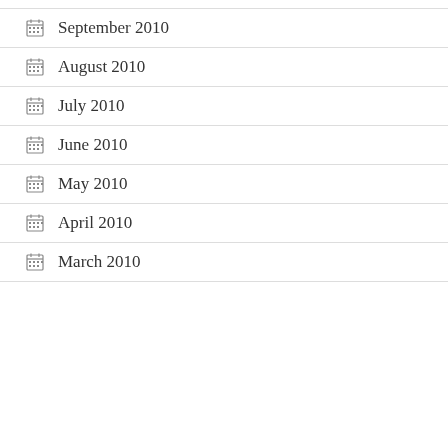September 2010
August 2010
July 2010
June 2010
May 2010
April 2010
March 2010